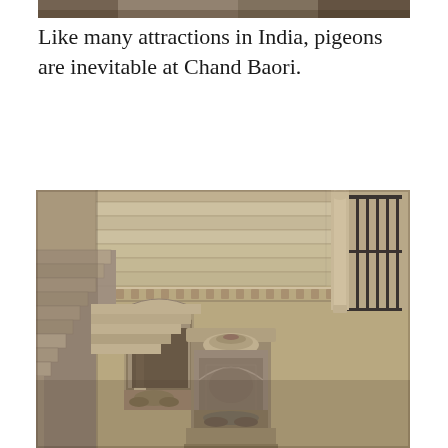[Figure (photo): Partial top strip of a photo showing architectural elements at Chand Baori stepwell, sandy stone tones]
Like many attractions in India, pigeons are inevitable at Chand Baori.
[Figure (photo): Close-up aerial view of Chand Baori stepwell in Rajasthan, India, showing intricate carved stone architecture, ornate niches with decorative arches, a prominent carved pillar/column in the foreground, geometric stepped levels receding to the left, and a balcony with iron railings on the right. The stonework is sandy brown/beige with detailed sculptural carvings.]